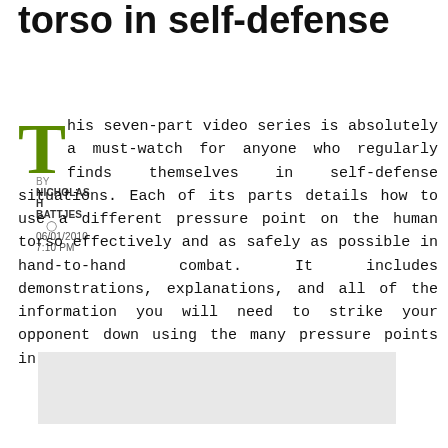torso in self-defense
BY NICHOLAS H BATTJES  06/01/2010 7:10 PM
This seven-part video series is absolutely a must-watch for anyone who regularly finds themselves in self-defense situations. Each of its parts details how to use a different pressure point on the human torso effectively and as safely as possible in hand-to-hand combat. It includes demonstrations, explanations, and all of the information you will need to strike your opponent down using the many pressure points in their chest.
[Figure (other): Advertisement placeholder block (light gray rectangle)]
[Figure (other): Video player area - dark top bar and gray body with 'Video unavailable' text at bottom]